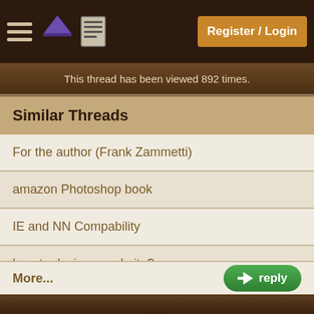Register / Login
This thread has been viewed 892 times.
Similar Threads
For the author (Frank Zammetti)
amazon Photoshop book
IE and NN Compability
how to design a website?
Website Development
Building a Better World in your Backyard by Paul Wheaton and Shawn Klassen-Koop
More...